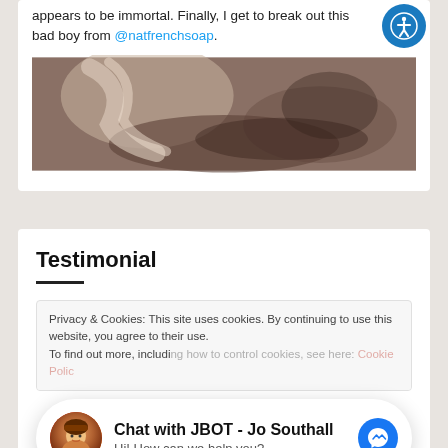appears to be immortal. Finally, I get to break out this bad boy from @natfrenchsoap.
[Figure (photo): Blurred close-up photo of a sink or bathroom fixture with fabric/cloth, brownish tones]
Testimonial
Privacy & Cookies: This site uses cookies. By continuing to use this website, you agree to their use. To find out more, including how to control cookies, see here: Cookie Polic...
Chat with JBOT - Jo Southall
Hi! How can we help you?
through implementing Jo's explanation of pacing, I